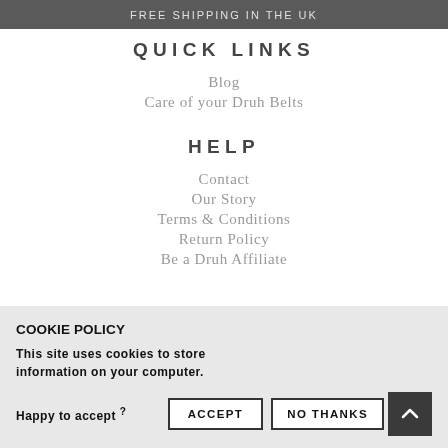FREE SHIPPING IN THE UK
QUICK LINKS
Blog
Care of your Druh Belts
HELP
Contact
Our Story
Terms & Conditions
Return Policy
Be a Druh Affiliate
COOKIE POLICY
This site uses cookies to store information on your computer.
Happy to accept ? ACCEPT NO THANKS